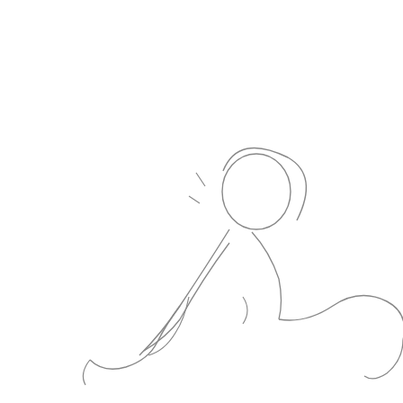[Figure (illustration): A line drawing of a stylized human figure in motion — appears to be running or skating. The figure has a rounded head shape at upper center, a curved torso leaning forward, arms bent and extended, and wavy legs trailing behind to the lower right. Drawn in thin gray strokes on a white background.]